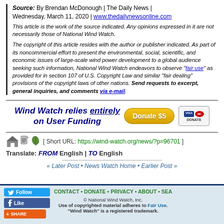Source: By Brendan McDonough | The Daily News | Wednesday, March 11, 2020 | www.thedailynewsonline.com
This article is the work of the source indicated. Any opinions expressed in it are not necessarily those of National Wind Watch.
The copyright of this article resides with the author or publisher indicated. As part of its noncommercial effort to present the environmental, social, scientific, and economic issues of large-scale wind power development to a global audience seeking such information, National Wind Watch endeavors to observe "fair use" as provided for in section 107 of U.S. Copyright Law and similar "fair dealing" provisions of the copyright laws of other nations. Send requests to excerpt, general inquiries, and comments via e-mail.
[Figure (infographic): Wind Watch donation banner with donate $5 button and Visa/Mastercard logos]
[ Short URL: https://wind-watch.org/news/?p=96701 ]
Translate: FROM English | TO English
« Later Post • News Watch Home • Earlier Post »
CONTACT • DONATE • PRIVACY • ABOUT • SEA | © National Wind Watch, Inc. Use of copyrighted material adheres to Fair Use. "Wind Watch" is a registered trademark.